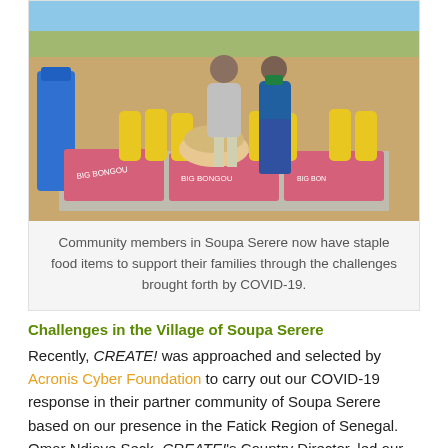[Figure (photo): Outdoor photo of community members in Soupa Serere standing amid bags of staple food items including Big Bongou bags, cooking oil bottles, and blue water containers, with trees in background.]
Community members in Soupa Serere now have staple food items to support their families through the challenges brought forth by COVID-19.
Challenges in the Village of Soupa Serere
Recently, CREATE! was approached and selected by Acronis Cyber Foundation to carry out our COVID-19 response in their partner community of Soupa Serere based on our presence in the Fatick Region of Senegal. Omar Ndiaye Seck, CREATE!'s Country Director, led our team in assessing the needs of the village of Soupa Serere and speaking with the